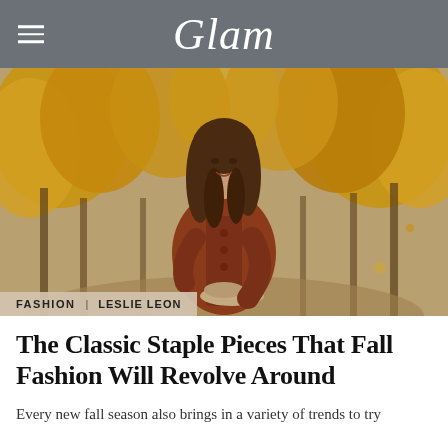Glam
[Figure (photo): A smiling young woman with long curly brown hair standing outdoors in an autumn forest. She wears a rust/burnt-orange oversized coat and holds a beige wide-brim hat. The background shows golden-yellow fall foliage on trees.]
FASHION | LESLIE LEON
The Classic Staple Pieces That Fall Fashion Will Revolve Around
Every new fall season also brings in a variety of trends to try